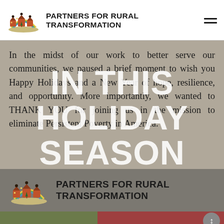Partners for Rural Transformation
[Figure (logo): Partners for Rural Transformation logo — colorful icon of houses, people, and a rainbow arc, with organization name in bold uppercase]
In the midst of our work to better serve our communities, we paused a brief moment to wish you Happy Holidays and a New Year of hope, resilience, and opportunity. More importantly, we wanted to THANK YOU for joining us in the mission to eliminate Persistent Poverty in America.
[Figure (infographic): Semi-transparent white text overlay reading IN THIS / HOLIDAY / SEASON in large bold uppercase letters over the body text and background]
[Figure (logo): Partners for Rural Transformation logo repeated at bottom of page in a darker banner]
[Figure (infographic): Color bar at bottom: olive green, dark red/crimson, and teal segments]